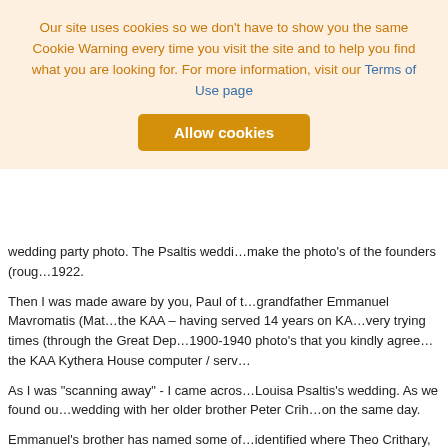Our site uses cookies so we don't have to show you the same Cookie Warning every time you visit the site and to help you find what you are looking for. For more information, visit our Terms of Use page
Allow cookies
wedding party photo. The Psaltis weddi... make the photo's of the founders (rough... 1922.
Then I was made aware by you, Paul of t... grandfather Emmanuel Mavromatis (Mati... the KAA – having served 14 years on KA... very trying times (through the Great Dep... 1900-1940 photo's that you kindly agree... the KAA Kythera House computer / serve...
As I was "scanning away" - I came acros... Louisa Psaltis's wedding. As we found ou... wedding with her older brother Peter Crih... on the same day.
Emmanuel's brother has named some of... identified where Theo Crithary, John Psa... photo taken in 1972 – with Bill Feros in h...